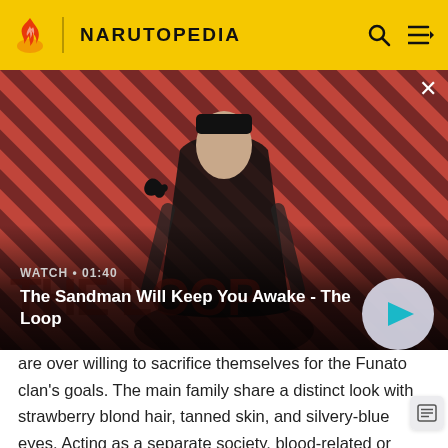NARUTOPEDIA
[Figure (screenshot): Video thumbnail for 'The Sandman Will Keep You Awake - The Loop' with a dark-robed figure against a red striped background. Overlaid text reads WATCH • 01:40 and the video title. A play button is visible in the lower right.]
are over willing to sacrifice themselves for the Funato clan's goals. The main family share a distinct look with strawberry blond hair, tanned skin, and silvery-blue eyes. Acting as a separate society, blood-related or not, they are all highly loyal to each other, constantly striving to support each other. From a young age, the men are